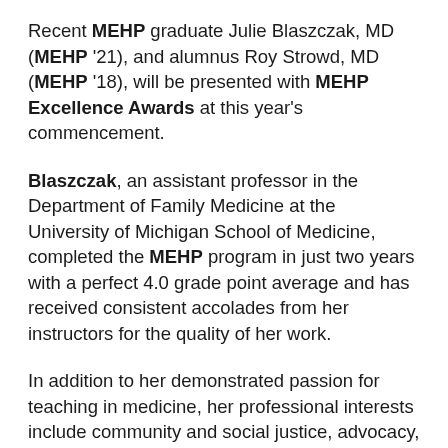Recent MEHP graduate Julie Blaszczak, MD (MEHP '21), and alumnus Roy Strowd, MD (MEHP '18), will be presented with MEHP Excellence Awards at this year's commencement.
Blaszczak, an assistant professor in the Department of Family Medicine at the University of Michigan School of Medicine, completed the MEHP program in just two years with a perfect 4.0 grade point average and has received consistent accolades from her instructors for the quality of her work.
In addition to her demonstrated passion for teaching in medicine, her professional interests include community and social justice, advocacy, and health care for underserved populations. She practices outpatient, inpatient, and prenatal care and has an interest in gender-affirming care in the